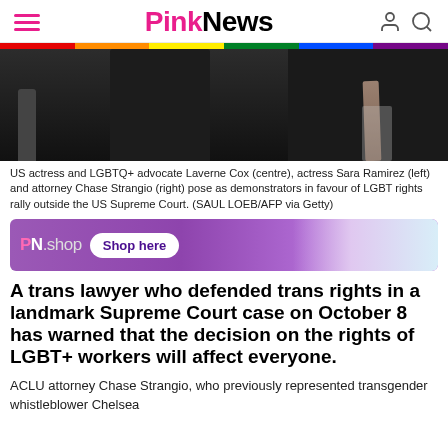PinkNews
[Figure (photo): US actress and LGBTQ+ advocate Laverne Cox (centre), actress Sara Ramirez (left) and attorney Chase Strangio (right) pose as demonstrators in favour of LGBT rights rally outside the US Supreme Court.]
US actress and LGBTQ+ advocate Laverne Cox (centre), actress Sara Ramirez (left) and attorney Chase Strangio (right) pose as demonstrators in favour of LGBT rights rally outside the US Supreme Court. (SAUL LOEB/AFP via Getty)
[Figure (other): PN.shop advertisement banner with 'Shop here' button]
A trans lawyer who defended trans rights in a landmark Supreme Court case on October 8 has warned that the decision on the rights of LGBT+ workers will affect everyone.
ACLU attorney Chase Strangio, who previously represented transgender whistleblower Chelsea